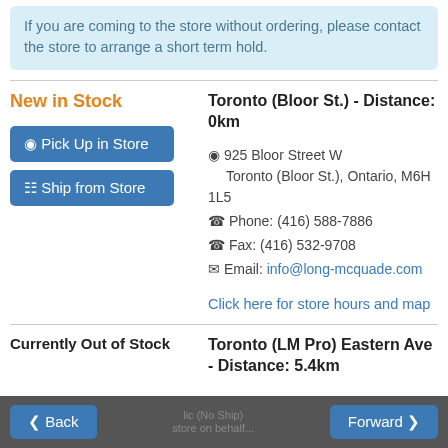If you are coming to the store without ordering, please contact the store to arrange a short term hold.
New in Stock
Pick Up in Store
Ship from Store
Toronto (Bloor St.) - Distance: 0km
925 Bloor Street W Toronto (Bloor St.), Ontario, M6H 1L5
Phone: (416) 588-7886
Fax: (416) 532-9708
Email: info@long-mcquade.com
Click here for store hours and map
Currently Out of Stock
Toronto (LM Pro) Eastern Ave - Distance: 5.4km
Back
Forward